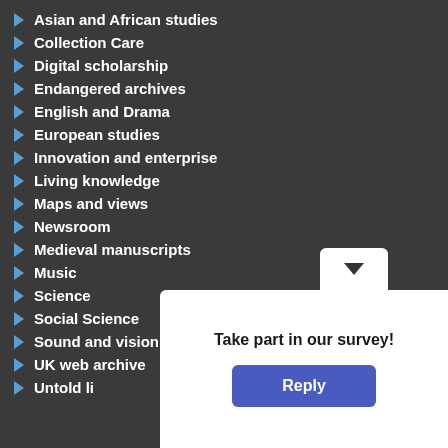Asian and African studies
Collection Care
Digital scholarship
Endangered archives
English and Drama
European studies
Innovation and enterprise
Living knowledge
Maps and views
Newsroom
Medieval manuscripts
Music
Science
Social Science
Sound and vision
UK web archive
Untold li…
[Figure (other): Survey popup overlay with 'Take part in our survey!' text and a blue Reply button]